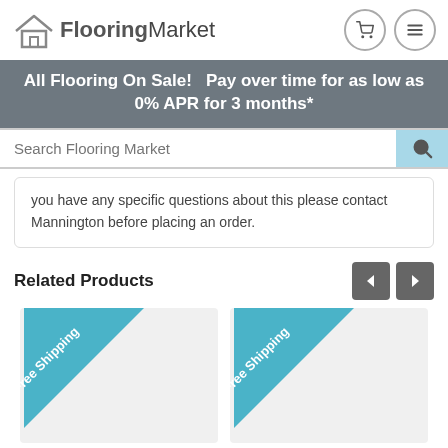FlooringMarket
All Flooring On Sale!   Pay over time for as low as 0% APR for 3 months*
Search Flooring Market
you have any specific questions about this please contact Mannington before placing an order.
Related Products
[Figure (infographic): Two product cards each with a teal diagonal 'Free Shipping' ribbon in the upper-left corner]
[Figure (infographic): Second product card with a teal diagonal 'Free Shipping' ribbon in the upper-left corner]